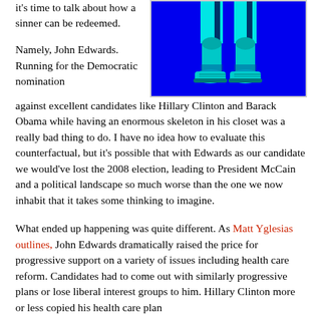it's time to talk about how a sinner can be redeemed.
[Figure (illustration): Lower body of a robot/cyborg figure in cyan/teal color on a blue background, wearing sneakers, showing legs and feet only]
Namely, John Edwards. Running for the Democratic nomination against excellent candidates like Hillary Clinton and Barack Obama while having an enormous skeleton in his closet was a really bad thing to do. I have no idea how to evaluate this counterfactual, but it's possible that with Edwards as our candidate we would've lost the 2008 election, leading to President McCain and a political landscape so much worse than the one we now inhabit that it takes some thinking to imagine.
What ended up happening was quite different. As Matt Yglesias outlines, John Edwards dramatically raised the price for progressive support on a variety of issues including health care reform. Candidates had to come out with similarly progressive plans or lose liberal interest groups to him. Hillary Clinton more or less copied his health care plan